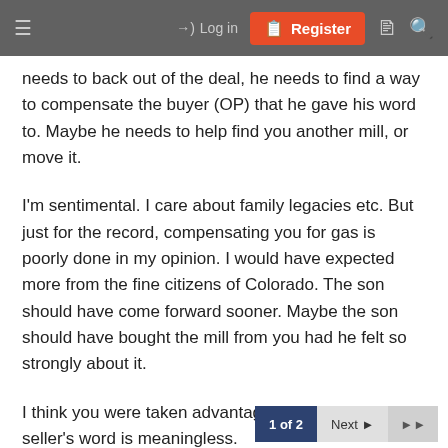≡  →) Log in  [+] Register  □  🔍
needs to back out of the deal, he needs to find a way to compensate the buyer (OP) that he gave his word to. Maybe he needs to help find you another mill, or move it.
I'm sentimental. I care about family legacies etc. But just for the record, compensating you for gas is poorly done in my opinion. I would have expected more from the fine citizens of Colorado. The son should have come forward sooner. Maybe the son should have bought the mill from you had he felt so strongly about it.
I think you were taken advantage of. I think the seller's word is meaningless.
1 of 2   Next ▶   ▶▶